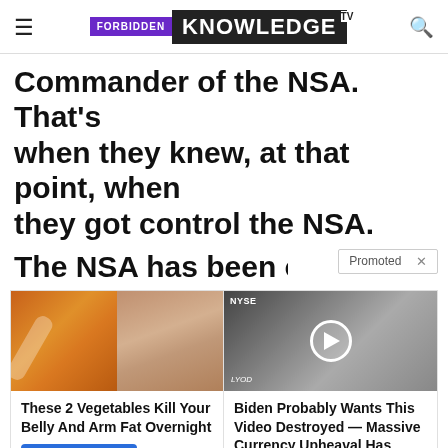Forbidden Knowledge TV
Commander of the NSA. That’s when they knew, at that point, when they got control the NSA.
The NSA has been catalo
[Figure (screenshot): Promoted advertisement banner with two ad cards: 1) These 2 Vegetables Kill Your Belly And Arm Fat Overnight with Find Out More button. 2) Biden Probably Wants This Video Destroyed — Massive Currency Upheaval Has Started with Watch The Video button.]